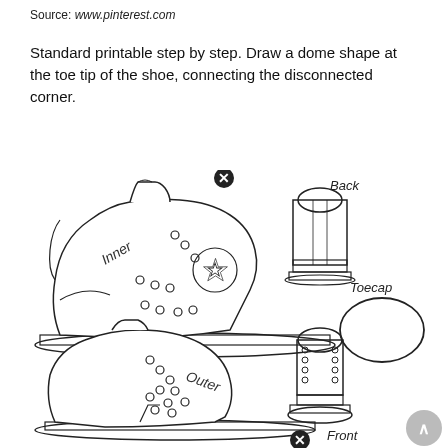Source: www.pinterest.com
Standard printable step by step. Draw a dome shape at the toe tip of the shoe, connecting the disconnected corner.
[Figure (illustration): Line drawing diagram of a high-top sneaker (Converse-style) showing multiple views: main side view with 'Inner' label, lower side view with 'Outer' label, back view labeled 'Back', front view labeled 'Front', and a toecap oval shape labeled 'Toecap'. Black and white illustration with two navigation X buttons.]